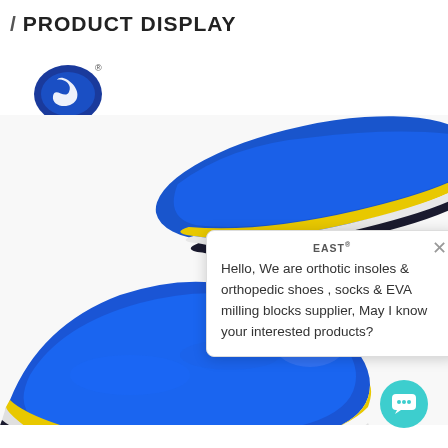/ PRODUCT DISPLAY
[Figure (logo): IDEASTEP logo: blue oval with stylized white arrow/figure, registered trademark symbol, text IDEASTEP below]
[Figure (photo): Two blue orthotic insoles displayed on white background, one angled at top right and one flat at lower left, showing blue fabric top, yellow and white layered sole edge]
Hello, We are orthotic insoles & orthopedic shoes , socks & EVA milling blocks supplier, May I know your interested products?